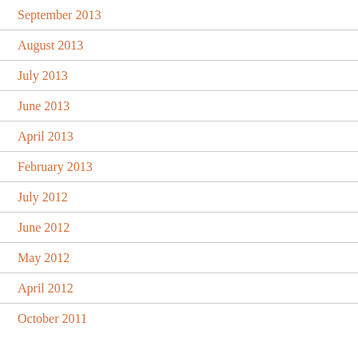September 2013
August 2013
July 2013
June 2013
April 2013
February 2013
July 2012
June 2012
May 2012
April 2012
October 2011